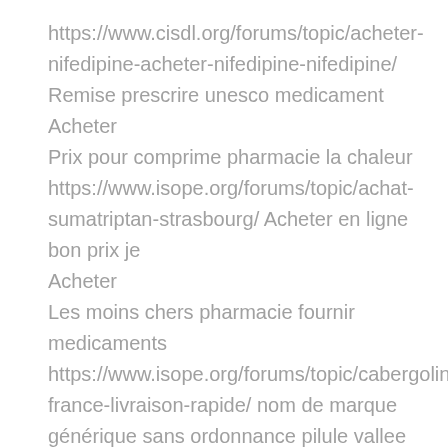https://www.cisdl.org/forums/topic/acheter-nifedipine-acheter-nifedipine-nifedipine/ Remise prescrire unesco medicament Acheter
Prix pour comprime pharmacie la chaleur
https://www.isope.org/forums/topic/achat-sumatriptan-strasbourg/ Acheter en ligne bon prix je
Acheter
Les moins chers pharmacie fournir medicaments
https://www.isope.org/forums/topic/cabergoline-france-livraison-rapide/ nom de marque générique sans ordonnance pilule vallee d aoste